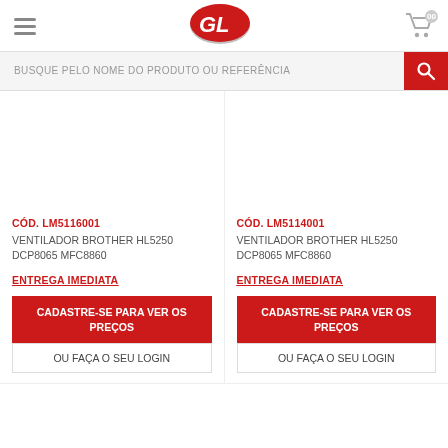[Figure (logo): GL brand logo — red oval with white GL letters]
BUSQUE PELO NOME DO PRODUTO OU REFERÊNCIA
CÓD. LM5116001
VENTILADOR BROTHER HL5250 DCP8065 MFC8860
ENTREGA IMEDIATA
CADASTRE-SE PARA VER OS PREÇOS
OU FAÇA O SEU LOGIN
CÓD. LM5114001
VENTILADOR BROTHER HL5250 DCP8065 MFC8860
ENTREGA IMEDIATA
CADASTRE-SE PARA VER OS PREÇOS
OU FAÇA O SEU LOGIN